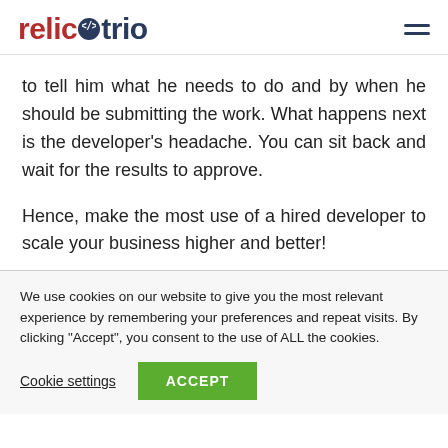relictrio
to tell him what he needs to do and by when he should be submitting the work. What happens next is the developer's headache. You can sit back and wait for the results to approve.
Hence, make the most use of a hired developer to scale your business higher and better!
We use cookies on our website to give you the most relevant experience by remembering your preferences and repeat visits. By clicking “Accept”, you consent to the use of ALL the cookies.